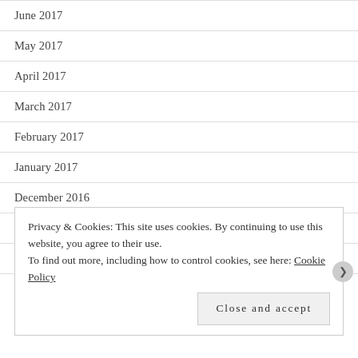June 2017
May 2017
April 2017
March 2017
February 2017
January 2017
December 2016
November 2016
October 2016
Privacy & Cookies: This site uses cookies. By continuing to use this website, you agree to their use. To find out more, including how to control cookies, see here: Cookie Policy
Close and accept